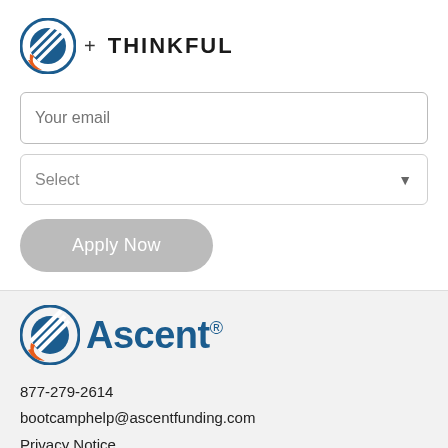[Figure (logo): Ascent logo (small) plus Thinkful logo text in header area]
Your email
Select
Apply Now
[Figure (logo): Ascent logo (large) in footer section]
877-279-2614
bootcamphelp@ascentfunding.com
Privacy Notice
Ascent Terms & Conditions
Website Terms of Use